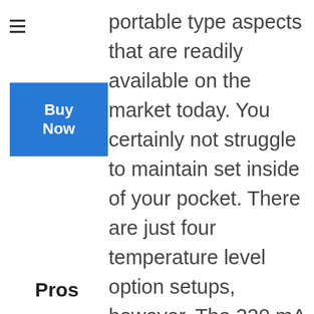portable type aspects that are readily available on the market today. You certainly not struggle to maintain set inside of your pocket. There are just four temperature level option setups, however. The 320 mA battery is also a little underpowered compared to some of the various other options out on the marketplace. Nevertheless the fact that it can make use of coil-less atomizers more than makes up for it.
Pros